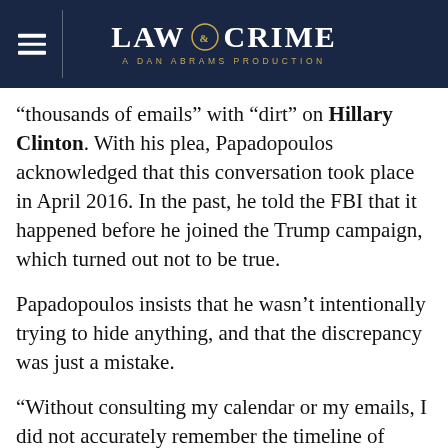LAW & CRIME — A DAN ABRAMS PRODUCTION
“thousands of emails” with “dirt” on Hillary Clinton. With his plea, Papadopoulos acknowledged that this conversation took place in April 2016. In the past, he told the FBI that it happened before he joined the Trump campaign, which turned out not to be true.
Papadopoulos insists that he wasn’t intentionally trying to hide anything, and that the discrepancy was just a mistake.
“Without consulting my calendar or my emails, I did not accurately remember the timeline of events,”